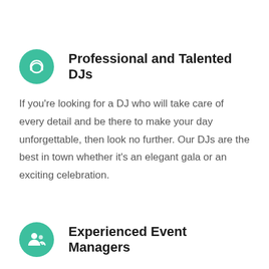Professional and Talented DJs
If you're looking for a DJ who will take care of every detail and be there to make your day unforgettable, then look no further. Our DJs are the best in town whether it's an elegant gala or an exciting celebration.
Experienced Event Managers